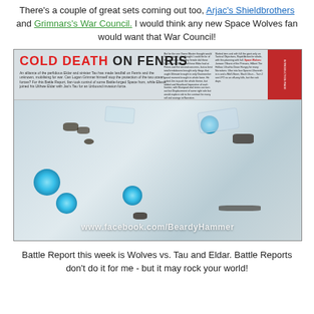There's a couple of great sets coming out too, Arjac's Shieldbrothers and Grimnars's War Council. I would think any new Space Wolves fan would want that War Council!
[Figure (photo): A photograph of an open magazine showing a Warhammer 40K battle report spread titled 'COLD DEATH ON FENRIS', with a battle map featuring miniatures, blue energy effects, and ice terrain. The watermark 'www.facebook.com/BeardyHammer' is visible at the bottom.]
Battle Report this week is Wolves vs. Tau and Eldar. Battle Reports don't do it for me - but it may rock your world!